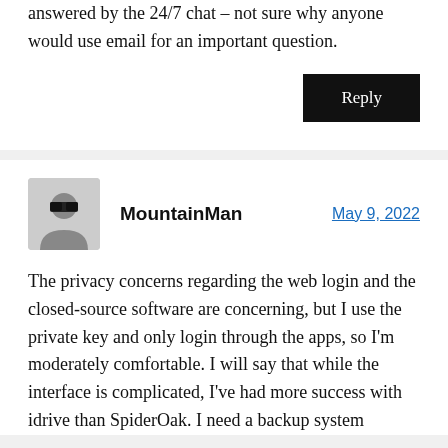answered by the 24/7 chat – not sure why anyone would use email for an important question.
Reply
MountainMan
May 9, 2022
The privacy concerns regarding the web login and the closed-source software are concerning, but I use the private key and only login through the apps, so I'm moderately comfortable. I will say that while the interface is complicated, I've had more success with idrive than SpiderOak. I need a backup system